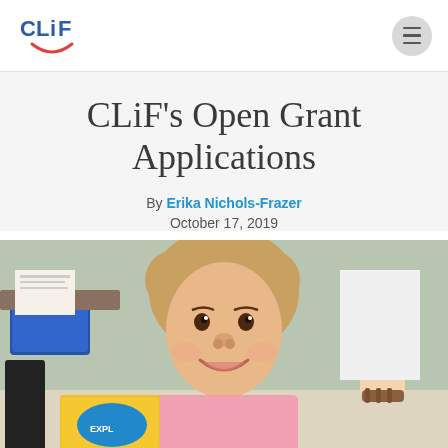CLiF logo and navigation
CLiF's Open Grant Applications
By Erika Nichols-Frazer
October 17, 2019
[Figure (photo): A young girl with curly hair wearing a pink shirt, smiling at the camera and holding a book in a classroom setting. School supplies and another person's feet are visible in the background.]